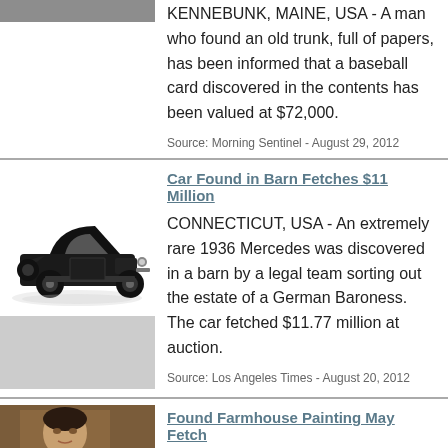[Figure (photo): Partial photo at top, cropped]
KENNEBUNK, MAINE, USA - A man who found an old trunk, full of papers, has been informed that a baseball card discovered in the contents has been valued at $72,000.
Source: Morning Sentinel - August 29, 2012
[Figure (photo): Black and white photo of a vintage 1936 Mercedes car]
Car Found in Barn Fetches $11 Million
CONNECTICUT, USA - An extremely rare 1936 Mercedes was discovered in a barn by a legal team sorting out the estate of a German Baroness. The car fetched $11.77 million at auction.
Source: Los Angeles Times - August 20, 2012
[Figure (photo): Partial photo of a painting at bottom]
Found Farmhouse Painting May Fetch